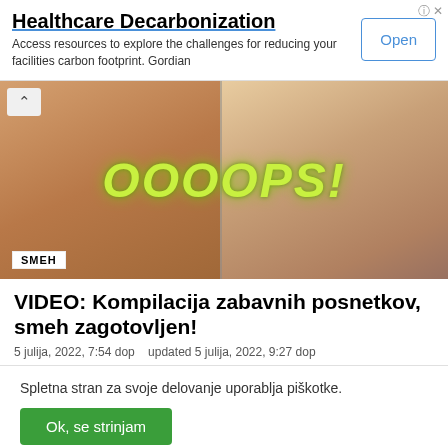Healthcare Decarbonization
Access resources to explore the challenges for reducing your facilities carbon footprint. Gordian
[Figure (photo): Two-panel thumbnail image with text overlay 'OOOOPS!' in yellow-green italic font, showing blurred figures. Bottom-left tag reads 'SMEH'.]
VIDEO: Kompilacija zabavnih posnetkov, smeh zagotovljen!
5 julija, 2022, 7:54 dop   updated 5 julija, 2022, 9:27 dop
Spletna stran za svoje delovanje uporablja piškotke.
Ok, se strinjam